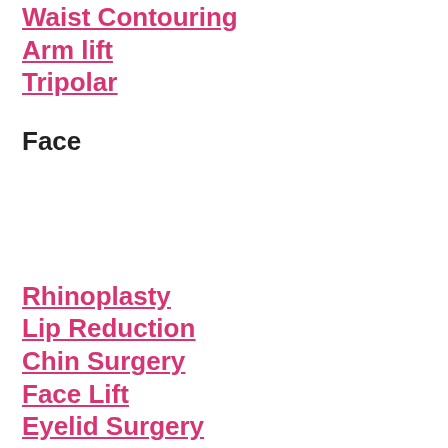Waist Contouring
Arm lift
Tripolar
Face
Rhinoplasty
Lip Reduction
Chin Surgery
Face Lift
Eyelid Surgery
Chemical Peel
Otoplasty
[Figure (other): WhatsApp us button with WhatsApp logo icon]
Filler Injections
Earlobe Surgery
Facial Implants